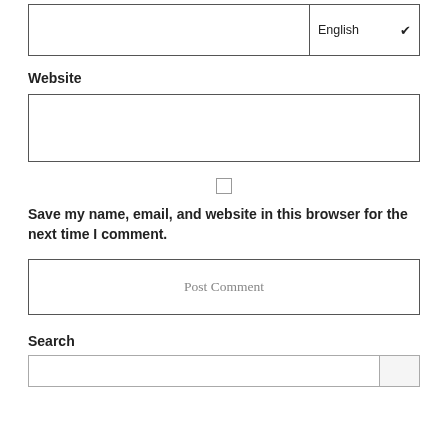[Figure (screenshot): A text input field with an 'English' language dropdown selector on the right side]
Website
[Figure (screenshot): A wide empty text input box for website URL]
[Figure (screenshot): An unchecked checkbox centered on the page]
Save my name, email, and website in this browser for the next time I comment.
[Figure (screenshot): A 'Post Comment' button spanning full width]
Search
[Figure (screenshot): A search input field with a small search button on the right, partially visible at bottom of page]